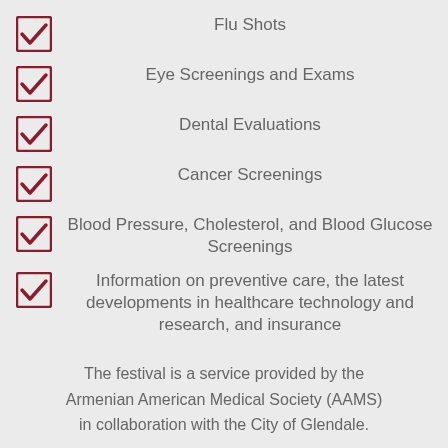Flu Shots
Eye Screenings and Exams
Dental Evaluations
Cancer Screenings
Blood Pressure, Cholesterol, and Blood Glucose Screenings
Information on preventive care, the latest developments in healthcare technology and research, and insurance
The festival is a service provided by the Armenian American Medical Society (AAMS) in collaboration with the City of Glendale.